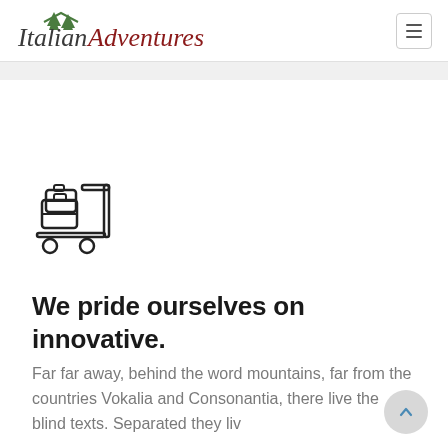Italian Adventures
[Figure (illustration): Luggage cart / trolley icon in outline style]
We pride ourselves on innovative.
Far far away, behind the word mountains, far from the countries Vokalia and Consonantia, there live the blind texts. Separated they liv